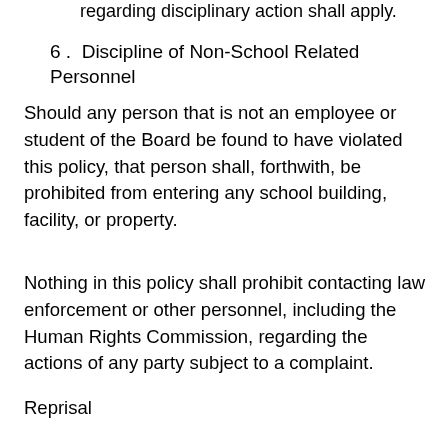regarding disciplinary action shall apply.
6.  Discipline of Non-School Related Personnel
Should any person that is not an employee or student of the Board be found to have violated this policy, that person shall, forthwith, be prohibited from entering any school building, facility, or property.
Nothing in this policy shall prohibit contacting law enforcement or other personnel, including the Human Rights Commission, regarding the actions of any party subject to a complaint.
Reprisal